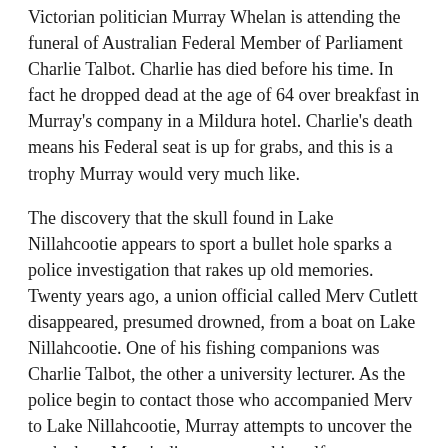Victorian politician Murray Whelan is attending the funeral of Australian Federal Member of Parliament Charlie Talbot. Charlie has died before his time. In fact he dropped dead at the age of 64 over breakfast in Murray's company in a Mildura hotel. Charlie's death means his Federal seat is up for grabs, and this is a trophy Murray would very much like.
The discovery that the skull found in Lake Nillahcootie appears to sport a bullet hole sparks a police investigation that rakes up old memories. Twenty years ago, a union official called Merv Cutlett disappeared, presumed drowned, from a boat on Lake Nillahcootie. One of his fishing companions was Charlie Talbot, the other a university lecturer. As the police begin to contact those who accompanied Merv to Lake Nillahcootie, Murray attempts to uncover the truth about Merv's disappearance himself.
SUCKED IN is one of those rare crime fiction novels that combines a murder mystery with an Australian sense of humour. Maloney achieves this through frequent use of authentic Australian idiom without detracting from the sense of an ongoing investigation. Murray Whelan's humour is dry, laconic, and always present. His first person narrative holds nothing back, whether he